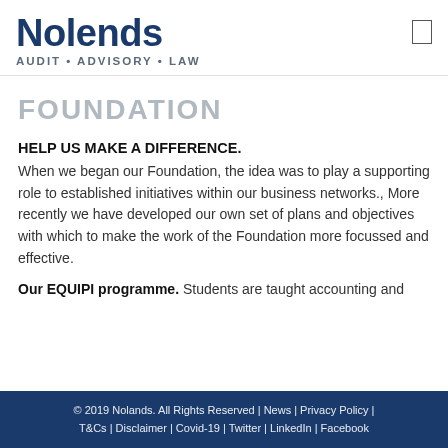Nolands AUDIT • ADVISORY • LAW
FOUNDATION
HELP US MAKE A DIFFERENCE.
When we began our Foundation, the idea was to play a supporting role to established initiatives within our business networks., More recently we have developed our own set of plans and objectives with which to make the work of the Foundation more focussed and effective.
Our EQUIPI programme. Students are taught accounting and
© 2019 Nolands. All Rights Reserved | News | Privacy Policy | T&Cs | Disclaimer | Covid-19 | Twitter | LinkedIn | Facebook